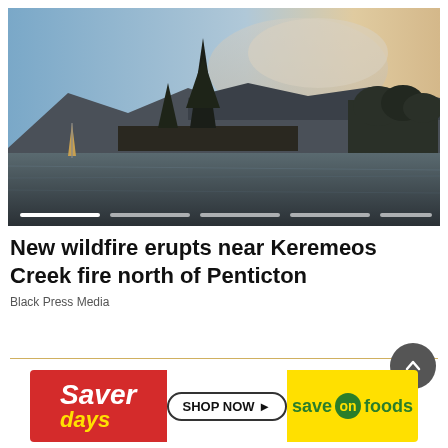[Figure (photo): Wildfire smoke rising above mountains and trees, reflected in a lake at dusk. A sailboat is visible on the left side of the water.]
New wildfire erupts near Keremeos Creek fire north of Penticton
Black Press Media
[Figure (photo): Saver days - Save On Foods advertisement banner with red and yellow sections and SHOP NOW button]